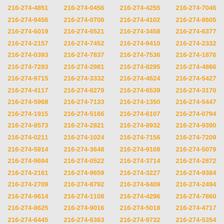216-274-4851 216-274-0456 216-274-4255 216-274-7046 216-274-9456 216-274-0708 216-274-4102 216-274-8605 216-274-6019 216-274-6521 216-274-3458 216-274-6377 216-274-2157 216-274-7452 216-274-9410 216-274-2332 216-274-0393 216-274-7837 216-274-7536 216-274-1876 216-274-7283 216-274-2981 216-274-8295 216-274-4866 216-274-9715 216-274-3332 216-274-4624 216-274-5427 216-274-4117 216-274-8279 216-274-6539 216-274-3170 216-274-5968 216-274-7133 216-274-1350 216-274-5447 216-274-1915 216-274-5166 216-274-6107 216-274-0794 216-274-8573 216-274-2821 216-274-8932 216-274-9390 216-274-0211 216-274-1024 216-274-7156 216-274-7209 216-274-5914 216-274-3648 216-274-9108 216-274-5079 216-274-9694 216-274-0522 216-274-3714 216-274-2872 216-274-2161 216-274-9659 216-274-3227 216-274-9384 216-274-2709 216-274-8792 216-274-6409 216-274-2494 216-274-9614 216-274-1108 216-274-4296 216-274-7860 216-274-8625 216-274-9016 216-274-5018 216-274-4717 216-274-6445 216-274-6363 216-274-9732 216-274-5354 216-274-3744 216-274-4234 216-274-9842 216-274-3799 216-274-8597 216-274-0509 216-274-1327 216-274-4968 216-274-2032 216-274-9924 216-274-5332 216-274-9055 216-274-3908 216-274-0229 216-274-3862 216-274-7305 216-274-0183 216-274-9650 216-274-8655 216-274-3903 216-274-6748 216-274-0353 216-274-3322 216-274-2688 216-274-2192 216-274-3126 216-274-9875 216-274-7111 216-274-6213 216-274-9238 216-274-7462 216-274-3786 216-274-8848 216-274-7814 216-274-3615 216-274-9751 216-274-7726 216-274-0899 216-274-8477 216-274-5082 216-274-2481 216-274-4893 216-274-1284 216-274-4865 216-274-0162 216-274-7407 216-274-7766 216-274-6484